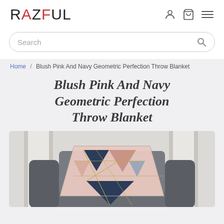RAZFUL
Search
Home / Blush Pink And Navy Geometric Perfection Throw Blanket
Blush Pink And Navy Geometric Perfection Throw Blanket
[Figure (photo): A geometric patterned throw blanket with blush pink, navy blue, and gold triangle designs draped over a dark grey armchair in a bright room.]